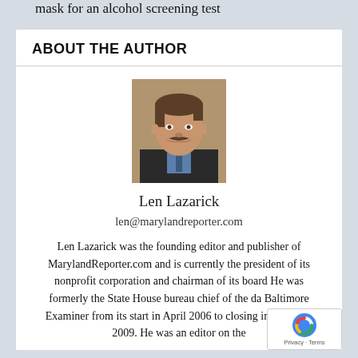mask for an alcohol screening test
ABOUT THE AUTHOR
[Figure (photo): Headshot photo of Len Lazarick, a man with brown hair and mustache wearing a dark suit jacket and blue shirt]
Len Lazarick
len@marylandreporter.com
Len Lazarick was the founding editor and publisher of MarylandReporter.com and is currently the president of its nonprofit corporation and chairman of its board He was formerly the State House bureau chief of the da Baltimore Examiner from its start in April 2006 to closing in February 2009. He was an editor on the